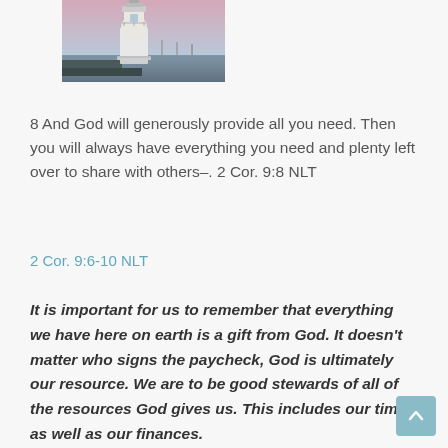[Figure (photo): A white lighthouse tower against a pale pink/purple dusk sky, with water and a dock visible in the background.]
8 And God will generously provide all you need. Then you will always have everything you need and plenty left over to share with others–. 2 Cor. 9:8 NLT
2 Cor. 9:6-10 NLT
It is important for us to remember that everything we have here on earth is a gift from God. It doesn't matter who signs the paycheck, God is ultimately our resource. We are to be good stewards of all of the resources God gives us. This includes our time as well as our finances.